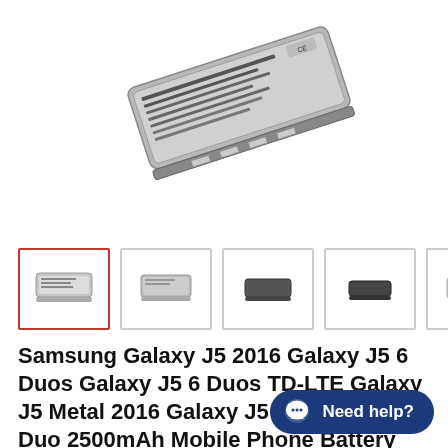[Figure (photo): A Samsung mobile phone battery photographed from above at an angle, showing its label side with text and markings. The battery is silver/grey rectangular shape.]
[Figure (photo): Five thumbnail images of the same battery from different angles: side/label view (selected, with red border), slightly different angle, dark back view, another dark angle, and label close-up.]
Samsung Galaxy J5 2016 Galaxy J5 6 Duos Galaxy J5 6 Duos TD-LTE Galaxy J5 Metal 2016 Galaxy J5 Metal 2016 Duo 2500mAh Mobile Phone Battery